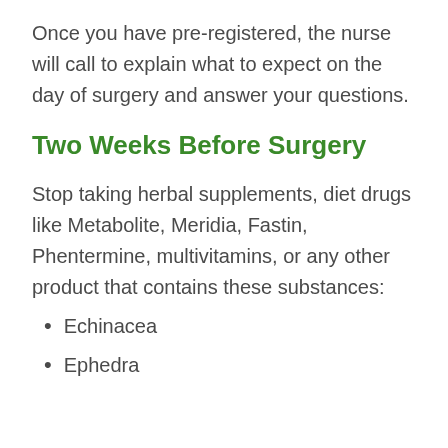Once you have pre-registered, the nurse will call to explain what to expect on the day of surgery and answer your questions.
Two Weeks Before Surgery
Stop taking herbal supplements, diet drugs like Metabolite, Meridia, Fastin, Phentermine, multivitamins, or any other product that contains these substances:
Echinacea
Ephedra